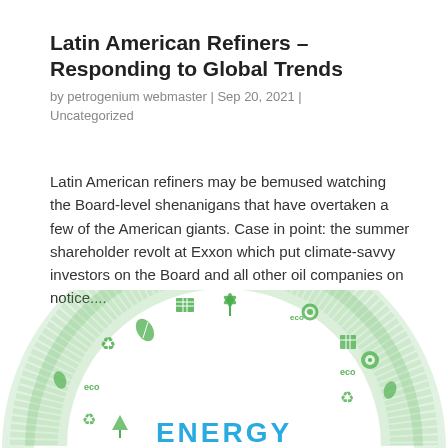Latin American Refiners – Responding to Global Trends
by petrogenium webmaster | Sep 20, 2021 | Uncategorized
Latin American refiners may be bemused watching the Board-level shenanigans that have overtaken a few of the American giants. Case in point: the summer shareholder revolt at Exxon which put climate-savvy investors on the Board and all other oil companies on notice....
[Figure (illustration): Green circular infographic made of eco/energy icons forming an arch shape, with the word ENERGY in large teal letters at the bottom center. Icons include solar panels, wind turbines, recycling symbols, leaves, and 'eco' text labels arranged in a horseshoe/arch pattern.]